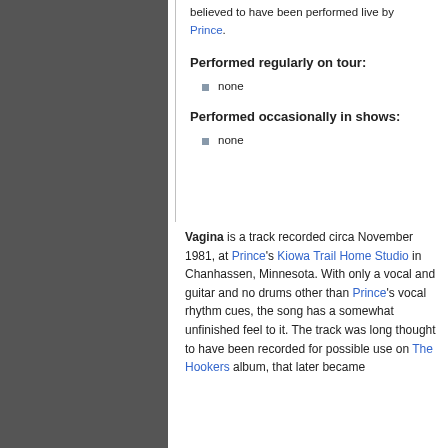believed to have been performed live by Prince.
Performed regularly on tour:
none
Performed occasionally in shows:
none
Vagina is a track recorded circa November 1981, at Prince's Kiowa Trail Home Studio in Chanhassen, Minnesota. With only a vocal and guitar and no drums other than Prince's vocal rhythm cues, the song has a somewhat unfinished feel to it. The track was long thought to have been recorded for possible use on The Hookers album, that later became